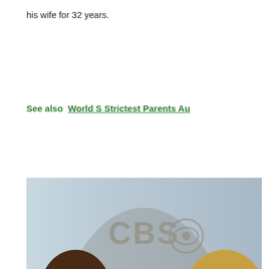his wife for 32 years.
See also  World S Strictest Parents Au
[Figure (photo): A man with long blonde hair in a black jacket smiling broadly, standing next to two women with long brown hair, both in black outfits, in front of a CBS logo backdrop at what appears to be a press or promotional event.]